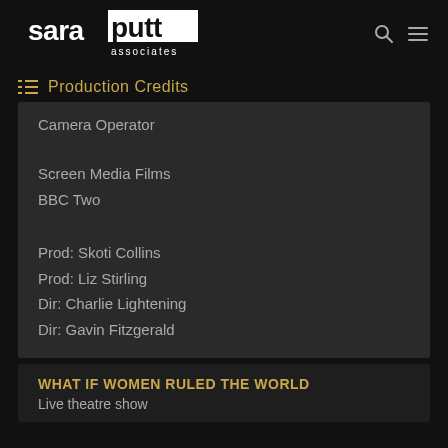saraputt associates
Production Credits
Camera Operator
Screen Media Films
BBC Two
Prod: Skoti Collins
Prod: Liz Stirling
Dir: Charlie Lightening
Dir: Gavin Fitzgerald
WHAT IF WOMEN RULED THE WORLD
Live theatre show